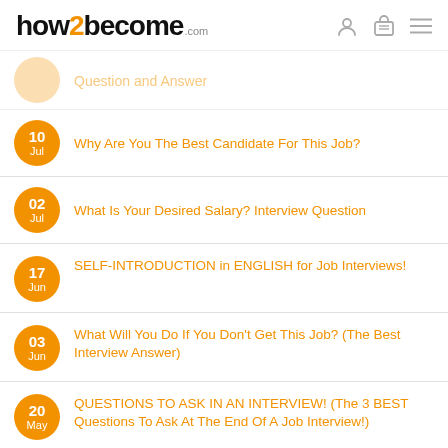how2become.com
Question and Answer
Why Are You The Best Candidate For This Job? — 10 Jul
What Is Your Desired Salary? Interview Question — 02 Jul
SELF-INTRODUCTION in ENGLISH for Job Interviews! — 17 Jun
What Will You Do If You Don't Get This Job? (The Best Interview Answer) — 03 Jun
QUESTIONS TO ASK IN AN INTERVIEW! (The 3 BEST Questions To Ask At The End Of A Job Interview!) — 20 May
How Do You Respond To Criticism? (The Best — 13